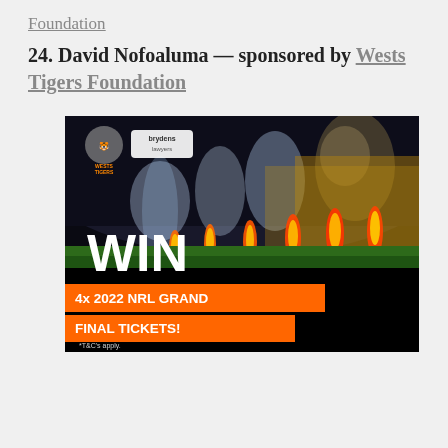Foundation
24. David Nofoaluma — sponsored by Wests Tigers Foundation
[Figure (photo): Wests Tigers and Brydens Lawyers branded promotional image showing a stadium with fireworks and pyrotechnics on the field at night with the text 'WIN 4x 2022 NRL GRAND FINAL TICKETS!' and '*T&C's apply.']